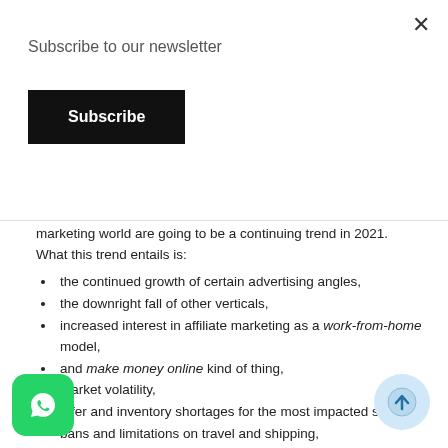Subscribe to our newsletter
Subscribe
marketing world are going to be a continuing trend in 2021. What this trend entails is:
the continued growth of certain advertising angles,
the downright fall of other verticals,
increased interest in affiliate marketing as a work-from-home model,
and make money online kind of thing,
market volatility,
offer and inventory shortages for the most impacted sectors,
bans and limitations on travel and shipping,
increased demand in WFH, home entertainment, and online education prod…
increased demand for online dating and adu…